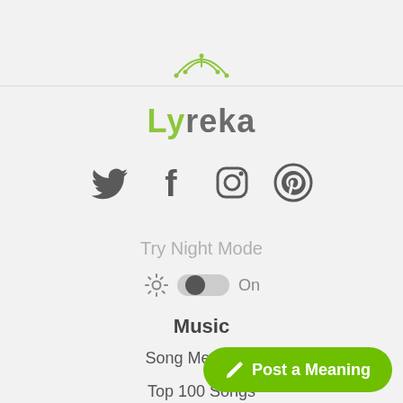[Figure (logo): Lyreka logo with green antenna icon above and stylized text 'Lyreka' in gray with 'Ly' in green]
[Figure (infographic): Row of four social media icons: Twitter bird, Facebook f, Instagram camera, Pinterest P — all in dark gray]
Try Night Mode
[Figure (infographic): Settings gear icon, toggle switch in ON position (dark), and text 'On' in gray]
Music
Song Meanings
Top 100 Songs
Top 100 Artists
Song Relea…
[Figure (other): Green pill-shaped button with pencil icon and text 'Post a Meaning']